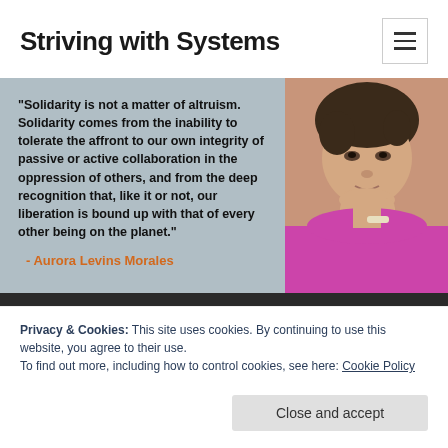Striving with Systems
[Figure (photo): A woman with short dark hair wearing a bright pink/magenta sweater, resting her chin on her hand, smiling slightly at the camera. The left portion of the image has a blue-grey background with a bold quote text overlaid.]
"Solidarity is not a matter of altruism. Solidarity comes from the inability to tolerate the affront to our own integrity of passive or active collaboration in the oppression of others, and from the deep recognition that, like it or not, our liberation is bound up with that of every other being on the planet."
- Aurora Levins Morales
Privacy & Cookies: This site uses cookies. By continuing to use this website, you agree to their use.
To find out more, including how to control cookies, see here: Cookie Policy
Close and accept